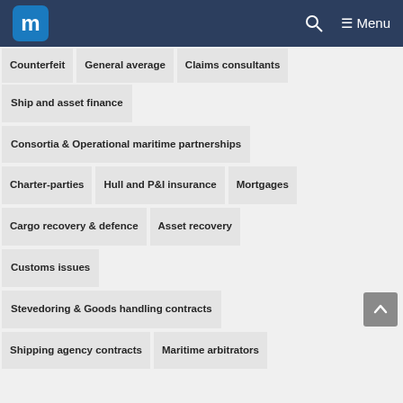m  [search] Menu
Counterfeit
General average
Claims consultants
Ship and asset finance
Consortia & Operational maritime partnerships
Charter-parties
Hull and P&I insurance
Mortgages
Cargo recovery & defence
Asset recovery
Customs issues
Stevedoring & Goods handling contracts
Shipping agency contracts
Maritime arbitrators